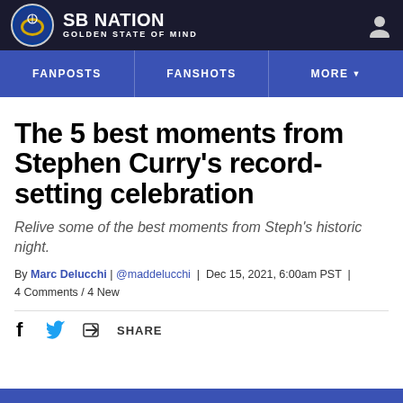SB NATION | GOLDEN STATE OF MIND
FANPOSTS | FANSHOTS | MORE
The 5 best moments from Stephen Curry's record-setting celebration
Relive some of the best moments from Steph's historic night.
By Marc Delucchi | @maddelucchi | Dec 15, 2021, 6:00am PST | 4 Comments / 4 New
SHARE